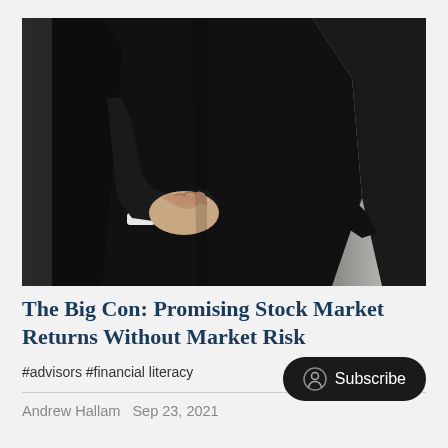[Figure (photo): A person in a black suit viewed from behind, with fingers crossed behind their back, suggesting deception.]
The Big Con: Promising Stock Market Returns Without Market Risk
#advisors #financial literacy
Andrew Hallam  Sep 23, 2021